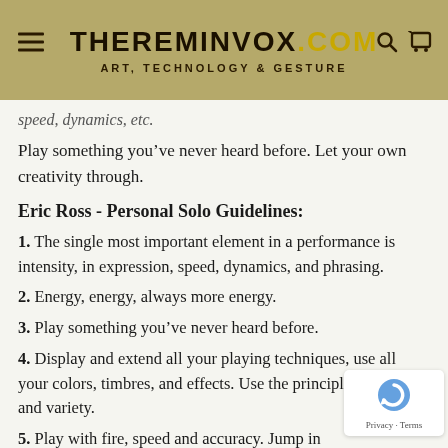THEREMINVOX.COM
Art, Technology & Gesture
speed, dynamics, etc.
Play something you’ve never heard before. Let your own creativity through.
Eric Ross - Personal Solo Guidelines:
1. The single most important element in a performance is intensity, in expression, speed, dynamics, and phrasing.
2. Energy, energy, always more energy.
3. Play something you’ve never heard before.
4. Display and extend all your playing techniques, use all your colors, timbres, and effects. Use the principles of unity and variety.
5. Play with fire, speed and accuracy. Jump in the stream of sixteenth notes, faster overall thought, quickness, deftness, grace, and expression.